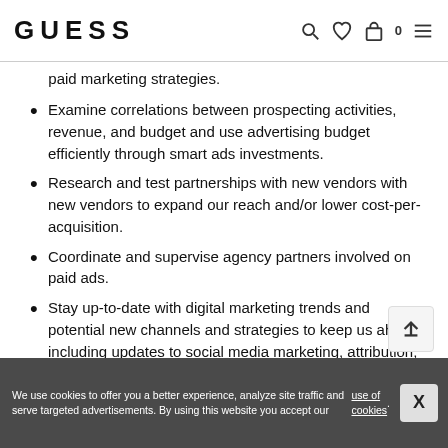GUESS
paid marketing strategies.
Examine correlations between prospecting activities, revenue, and budget and use advertising budget efficiently through smart ads investments.
Research and test partnerships with new vendors with new vendors to expand our reach and/or lower cost-per-acquisition.
Coordinate and supervise agency partners involved on paid ads.
Stay up-to-date with digital marketing trends and potential new channels and strategies to keep us ahead, including updates to social media marketing, attribution, and programmatic media buying.
Measure and optimize our paid marketing using Google Analytics, and Ecomm landing page source reports.
We use cookies to offer you a better experience, analyze site traffic and serve targeted advertisements. By using this website you accept our use of cookies.